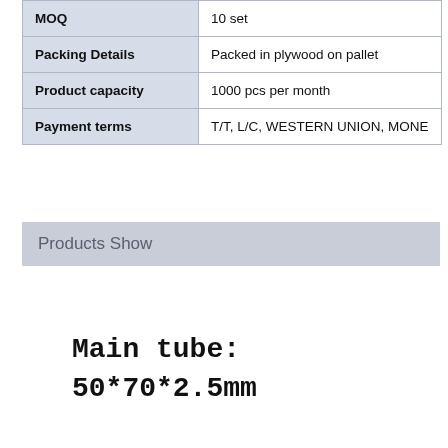|  |  |
| --- | --- |
| MOQ | 10 set |
| Packing Details | Packed in plywood on pallet |
| Product capacity | 1000 pcs per month |
| Payment terms | T/T, L/C, WESTERN UNION, MONE |
Products Show
[Figure (other): Text image showing product specification: Main tube: 50*70*2.5mm]